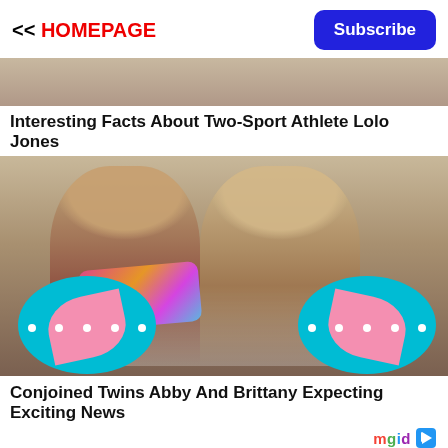<< HOMEPAGE   Subscribe
[Figure (photo): Partial photo at top of page, showing cropped image.]
Interesting Facts About Two-Sport Athlete Lolo Jones
[Figure (photo): Two young women smiling and holding birthday cakes decorated in teal and pink.]
Conjoined Twins Abby And Brittany Expecting Exciting News
mgid